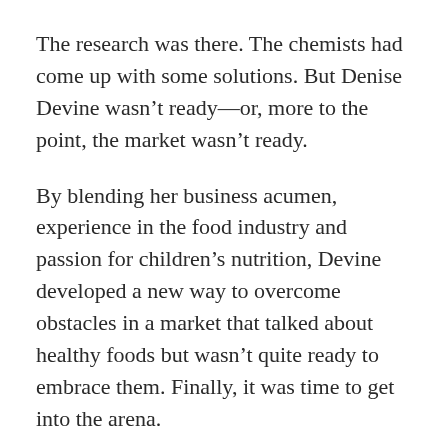The research was there. The chemists had come up with some solutions. But Denise Devine wasn’t ready—or, more to the point, the market wasn’t ready.
By blending her business acumen, experience in the food industry and passion for children’s nutrition, Devine developed a new way to overcome obstacles in a market that talked about healthy foods but wasn’t quite ready to embrace them. Finally, it was time to get into the arena.
Devine’s first step is Froose, a fruit snack with a smiling moose on the package and three grams of fiber in each serving. Instead of flavoring the product with processed sugar, Devine chose fruit